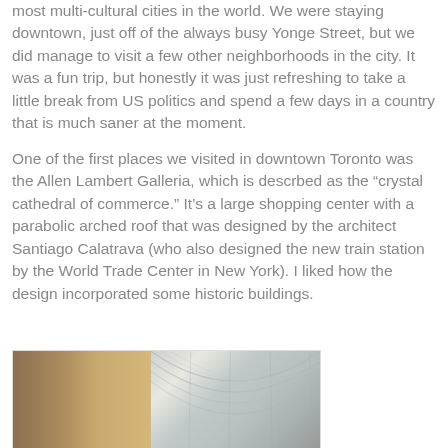most multi-cultural cities in the world. We were staying downtown, just off of the always busy Yonge Street, but we did manage to visit a few other neighborhoods in the city. It was a fun trip, but honestly it was just refreshing to take a little break from US politics and spend a few days in a country that is much saner at the moment.
One of the first places we visited in downtown Toronto was the Allen Lambert Galleria, which is descrbed as the “crystal cathedral of commerce.” It’s a large shopping center with a parabolic arched roof that was designed by the architect Santiago Calatrava (who also designed the new train station by the World Trade Center in New York). I liked how the design incorporated some historic buildings.
[Figure (photo): Interior/exterior photo of the Allen Lambert Galleria in Toronto showing a historic ornate building facade on the left and the modern parabolic glass arch roof structure on the right.]